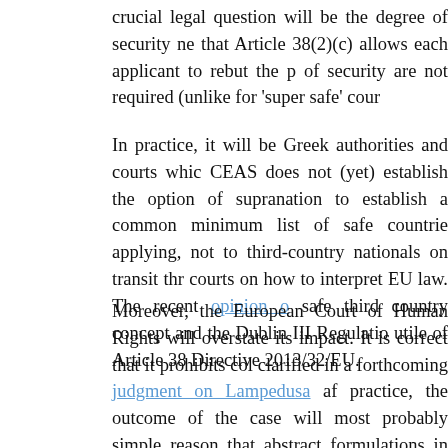crucial legal question will be the degree of security ne that Article 38(2)(c) allows each applicant to rebut the p of security are not required (unlike for 'super safe' cour
In practice, it will be Greek authorities and courts whic CEAS does not (yet) establish the option of supranation to establish a common minimum list of safe countrie applying, not to third-country nationals on transit thr courts on how to interpret EU law. The recent opinion o safe third country concept and the Dublin III Regulatio utile of Article 38 Directive 2013/32/EU.
Moreover, the European Court of Human Rights will overstate its impact. It is correct that it prohibits col clarified in a forthcoming judgment on Lampedusa af practice, the outcome of the case will most probably simple reason that abstract formulations in summit co